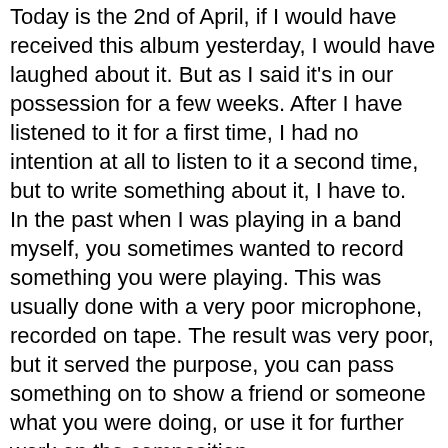Today is the 2nd of April, if I would have received this album yesterday, I would have laughed about it. But as I said it's in our possession for a few weeks. After I have listened to it for a first time, I had no intention at all to listen to it a second time, but to write something about it, I have to.
In the past when I was playing in a band myself, you sometimes wanted to record something you were playing. This was usually done with a very poor microphone, recorded on tape. The result was very poor, but it served the purpose, you can pass something on to show a friend or someone what you were doing, or use it for further work on the composition.
'Rau Reif' has almost the same quality. The sound is very poor, something which doesn't seem necessary to me these days. We have received demo's of many band, which didn't have a lot of money, but all of them sounded better.
Then there is the way all thing are played. It seems to me